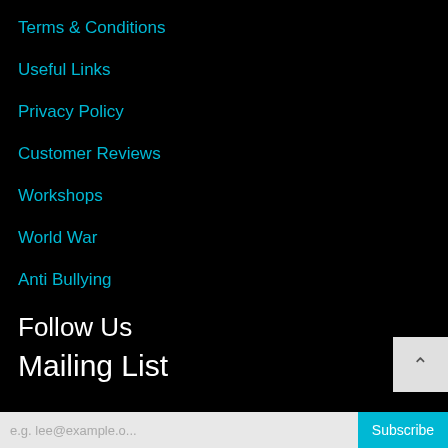Terms & Conditions
Useful Links
Privacy Policy
Customer Reviews
Workshops
World War
Anti Bullying
Follow Us
Mailing List
Subscribe